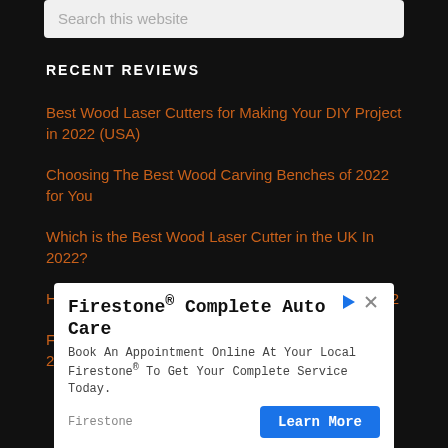Search this website
RECENT REVIEWS
Best Wood Laser Cutters for Making Your DIY Project in 2022 (USA)
Choosing The Best Wood Carving Benches of 2022 for You
Which is the Best Wood Laser Cutter in the UK In 2022?
How To Cut a Circle in Wood? Beginners Guide 2022
Foredom Rotary Tools Good For Wood Carving in 2022?
[Figure (screenshot): Advertisement for Firestone Complete Auto Care with Learn More button]